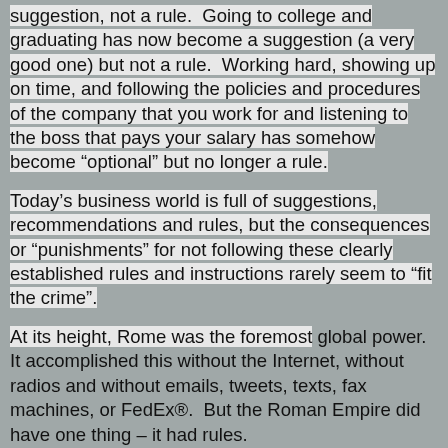suggestion, not a rule.  Going to college and graduating has now become a suggestion (a very good one) but not a rule.  Working hard, showing up on time, and following the policies and procedures of the company that you work for and listening to the boss that pays your salary has somehow become “optional” but no longer a rule.
Today’s business world is full of suggestions, recommendations and rules, but the consequences or “punishments” for not following these clearly established rules and instructions rarely seem to “fit the crime”.
At its height, Rome was the foremost global power.  It accomplished this without the Internet, without radios and without emails, tweets, texts, fax machines, or FedEx®.  But the Roman Empire did have one thing – it had rules.
A Commander's written orders could leave Rome and be hand-delivered to a Roman Soldier via courier anywhere in the world – and the instructions would simply be followed, period.  No need for follow up meetings or conference calls